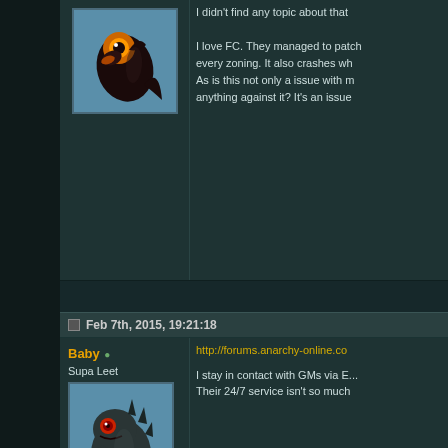I didn't find any topic about that. I love FC. They managed to patch every zoning. It also crashes wh... As is this not only a issue with m... anything against it? It's an issue...
[Figure (illustration): Dark fish-like creature avatar with big orange eye on blue background]
Feb 7th, 2015, 19:21:18
Baby • Supa Leet
[Figure (illustration): Dark dinosaur/lizard creature avatar with red eyes on blue background]
http://forums.anarchy-online.co...
I stay in contact with GMs via E... Their 24/7 service isn't so much...
Don't set yourself on fire to keep others w...
Feb 7th, 2015, 22:04:11
lorekzix • Pansorhism
Originally Posted by B...